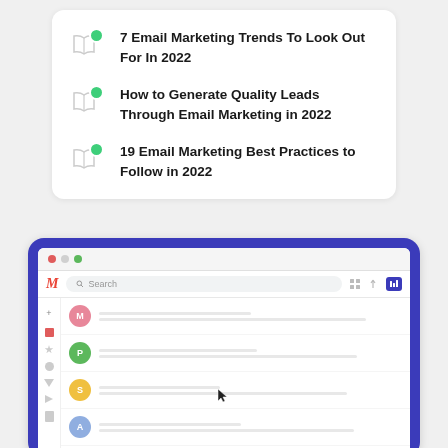7 Email Marketing Trends To Look Out For In 2022
How to Generate Quality Leads Through Email Marketing in 2022
19 Email Marketing Best Practices to Follow in 2022
[Figure (screenshot): Screenshot of a Gmail-like email client interface inside a browser window, shown on a blue/indigo laptop or monitor frame. The browser has traffic-light dots and shows a list of email rows with colored avatar circles (pink M, green P, yellow S, blue A, purple K) and placeholder text lines. A cursor arrow is visible over the third email row.]